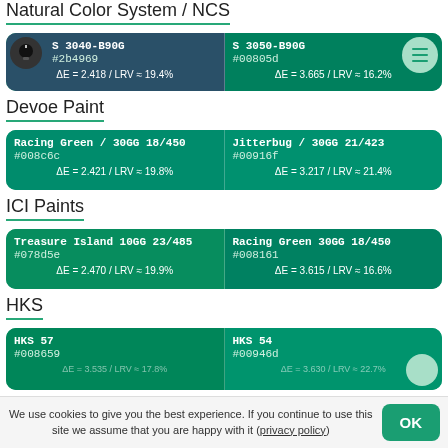Natural Color System / NCS
| Color 1 | Color 2 |
| --- | --- |
| S 3040-B90G
#2b4969 | S 3050-B90G
#00805d |
| ΔE = 2.418 / LRV ≈ 19.4% | ΔE = 3.665 / LRV ≈ 16.2% |
Devoe Paint
| Color 1 | Color 2 |
| --- | --- |
| Racing Green / 30GG 18/450
#008c6c | Jitterbug / 30GG 21/423
#00916f |
| ΔE = 2.421 / LRV ≈ 19.8% | ΔE = 3.217 / LRV ≈ 21.4% |
ICI Paints
| Color 1 | Color 2 |
| --- | --- |
| Treasure Island 10GG 23/485
#078d5e | Racing Green 30GG 18/450
#008161 |
| ΔE = 2.470 / LRV ≈ 19.9% | ΔE = 3.615 / LRV ≈ 16.6% |
HKS
| Color 1 | Color 2 |
| --- | --- |
| HKS 57
#008659 | HKS 54
#00946d |
| ΔE = 3.535 / LRV ≈ 17.8% | ΔE = 3.630 / LRV ≈ 22.7% |
We use cookies to give you the best experience. If you continue to use this site we assume that you are happy with it (privacy policy)